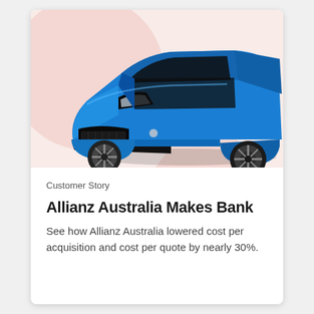[Figure (photo): Blue hatchback car photographed from front-left angle on a light pink/salmon background with a large pink circle and pink triangle decorative shapes.]
Customer Story
Allianz Australia Makes Bank
See how Allianz Australia lowered cost per acquisition and cost per quote by nearly 30%.